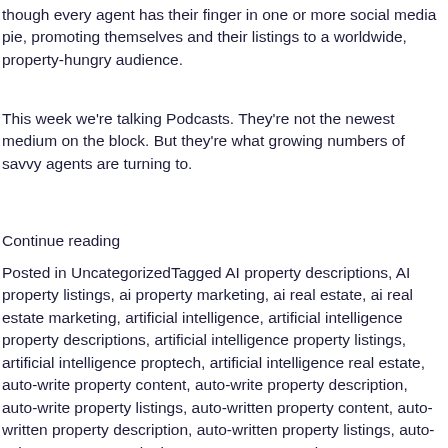though every agent has their finger in one or more social media pie, promoting themselves and their listings to a worldwide, property-hungry audience.
This week we're talking Podcasts. They're not the newest medium on the block. But they're what growing numbers of savvy agents are turning to.
Continue reading
Posted in UncategorizedTagged AI property descriptions, AI property listings, ai property marketing, ai real estate, ai real estate marketing, artificial intelligence, artificial intelligence property descriptions, artificial intelligence property listings, artificial intelligence proptech, artificial intelligence real estate, auto-write property content, auto-write property description, auto-write property listings, auto-written property content, auto-written property description, auto-written property listings, auto-written property marketing content, automated property descriptions, ayman alashkar, Biden, bidx1, binghatti